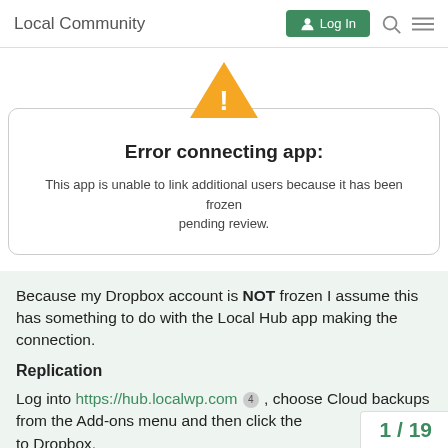Local Community
[Figure (screenshot): Error connecting app dialog with orange warning triangle icon, showing message: 'Error connecting app: This app is unable to link additional users because it has been frozen pending review.']
Because my Dropbox account is NOT frozen I assume this has something to do with the Local Hub app making the connection.
Replication
Log into https://hub.localwp.com 4 , choose Cloud backups from the Add-ons menu and then click the to Dropbox.
1 / 19